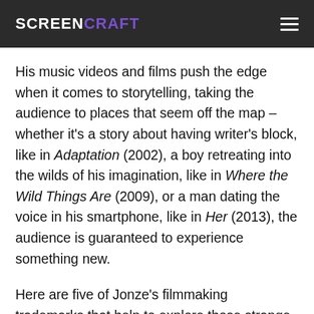SCREENCRAFT
His music videos and films push the edge when it comes to storytelling, taking the audience to places that seem off the map – whether it's a story about having writer's block, like in Adaptation (2002), a boy retreating into the wilds of his imagination, like in Where the Wild Things Are (2009), or a man dating the voice in his smartphone, like in Her (2013), the audience is guaranteed to experience something new.
Here are five of Jonze's filmmaking trademarks that help to explore those strange yet familiar places and create worlds that are as treacherous to navigate as the most fantastical bits...